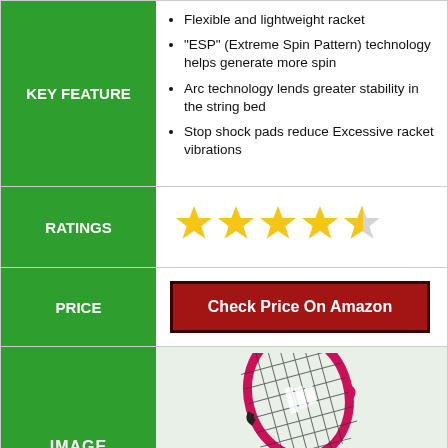Flexible and lightweight racket
"ESP" (Extreme Spin Pattern) technology helps generate more spin
Arc technology lends greater stability in the string bed
Stop shock pads reduce Excessive racket vibrations
RATINGS
[Figure (other): 4.5 out of 5 stars rating — four full gold stars and one half gold star]
PRICE
Check Price On Amazon
IMAGE
[Figure (photo): Pink and black tennis racket (Wilson brand), head portion visible showing string pattern]